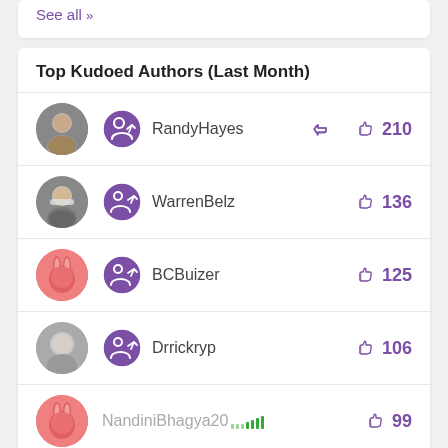See all »
Top Kudoed Authors (Last Month)
RandyHayes 210 kudos
WarrenBelz 136 kudos
BCBuizer 125 kudos
Drrickryp 106 kudos
NandiniBhagya20 99 kudos
See all »